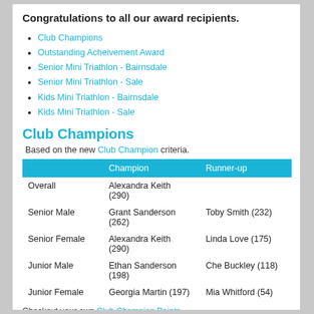Congratulations to all our award recipients.
Club Champions
Outstanding Acheivement Award
Senior Mini Triathlon - Bairnsdale
Senior Mini Triathlon - Sale
Kids Mini Triathlon - Bairnsdale
Kids Mini Triathlon - Sale
Club Champions
Based on the new Club Champion criteria.
|  | Champion | Runner-up |
| --- | --- | --- |
| Overall | Alexandra Keith (290) |  |
| Senior Male | Grant Sanderson (262) | Toby Smith (232) |
| Senior Female | Alexandra Keith (290) | Linda Love (175) |
| Junior Male | Ethan Sanderson (198) | Che Buckley (118) |
| Junior Female | Georgia Martin (197) | Mia Whitford (54) |
Checkout your own Club Champion Points.